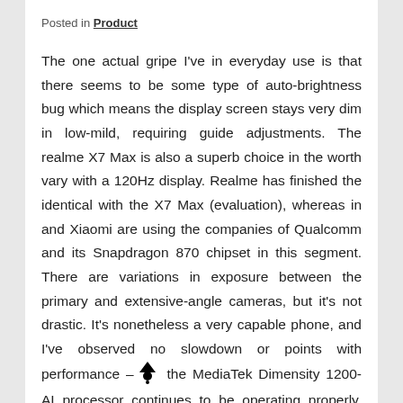Posted in Product
The one actual gripe I've in everyday use is that there seems to be some type of auto-brightness bug which means the display screen stays very dim in low-mild, requiring guide adjustments. The realme X7 Max is also a superb choice in the worth vary with a 120Hz display. Realme has finished the identical with the X7 Max (evaluation), whereas in and Xiaomi are using the companies of Qualcomm and its Snapdragon 870 chipset in this segment. There are variations in exposure between the primary and extensive-angle cameras, but it's not drastic. It's nonetheless a very capable phone, and I've observed no slowdown or points with performance – the MediaTek Dimensity 1200-AI processor continues to be operating properly. The Nord 2 is the latest mid-